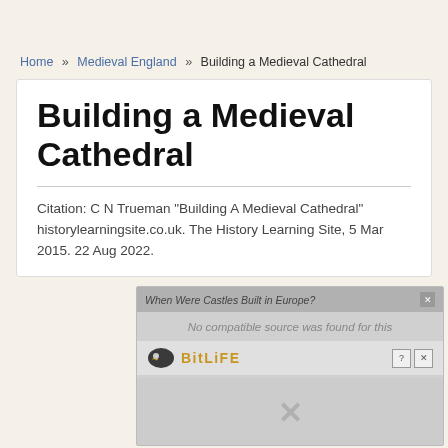Home » Medieval England » Building a Medieval Cathedral
Building a Medieval Cathedral
Citation: C N Trueman "Building A Medieval Cathedral" historylearningsite.co.uk. The History Learning Site, 5 Mar 2015. 22 Aug 2022.
[Figure (screenshot): Ad overlay showing 'When Were Castles Built in Europe?' video player with 'No compatible source was found for this' message, a BitLife banner advertisement, and a close X button]